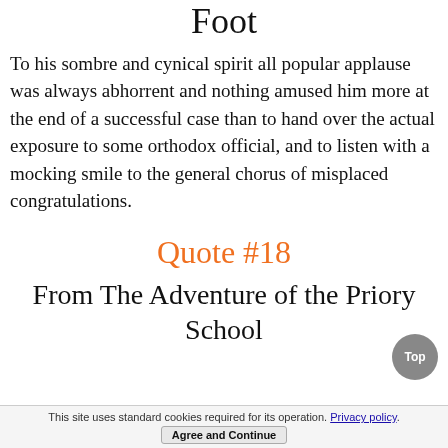Foot
To his sombre and cynical spirit all popular applause was always abhorrent and nothing amused him more at the end of a successful case than to hand over the actual exposure to some orthodox official, and to listen with a mocking smile to the general chorus of misplaced congratulations.
Quote #18
From The Adventure of the Priory School
This site uses standard cookies required for its operation. Privacy policy. Agree and Continue